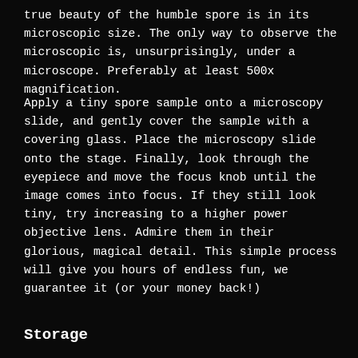true beauty of the humble spore is in its microscopic size. The only way to observe the microscopic is, unsurprisingly, under a microscope. Preferably at least 500x magnification.
Apply a tiny spore sample onto a microscopy slide, and gently cover the sample with a covering glass. Place the microscopy slide onto the stage. Finally, look through the eyepiece and move the focus knob until the image comes into focus. If they still look tiny, try increasing to a higher power objective lens. Admire them in their glorious, magical detail. This simple process will give you hours of endless fun, we guarantee it (or your money back!)
Storage